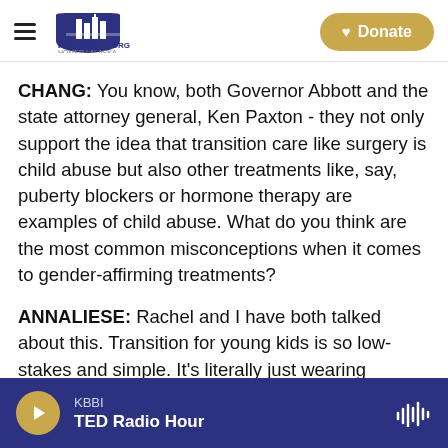KBBI AM 890 KBBI.ORG Homer Alaska — Donate
CHANG: You know, both Governor Abbott and the state attorney general, Ken Paxton - they not only support the idea that transition care like surgery is child abuse but also other treatments like, say, puberty blockers or hormone therapy are examples of child abuse. What do you think are the most common misconceptions when it comes to gender-affirming treatments?
ANNALIESE: Rachel and I have both talked about this. Transition for young kids is so low-stakes and simple. It's literally just wearing clothing that makes you feel good. It's using a name - maybe a different
KBBI — TED Radio Hour